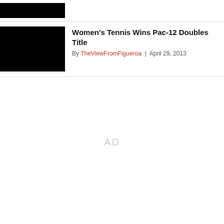[Figure (photo): Black redacted image in top section]
Women's Tennis Wins Pac-12 Doubles Title
By TheViewFromFigueroa | April 29, 2013
[Figure (photo): Black redacted article thumbnail image]
AD